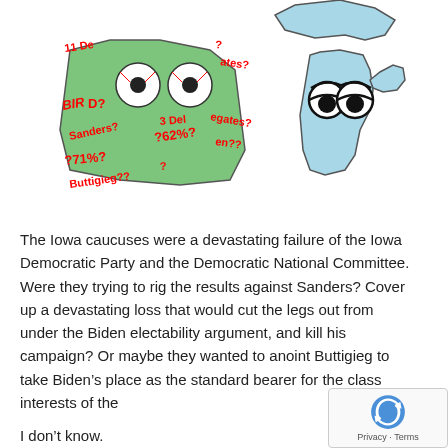[Figure (illustration): Political cartoon showing two state maps: Iowa (left, green) covered with confused red hand-drawn text asking questions like '11 Delegates?', 'BIRD?', '3 Delegates?', '62%?', 'Sanders?', '71%?', 'Buttigieg??', with cartoon eyeballs on it; and Michigan (right, light blue) with a sad cartoon face (droopy eyes). Represents confusion over Iowa caucus results.]
The Iowa caucuses were a devastating failure of the Iowa Democratic Party and the Democratic National Committee. Were they trying to rig the results against Sanders? Cover up a devastating loss that would cut the legs out from under the Biden electability argument, and kill his campaign? Or maybe they wanted to anoint Buttigieg to take Biden's place as the standard bearer for the class interests of the
I don't know.